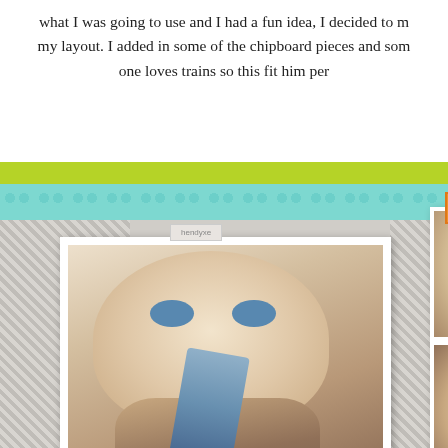what I was going to use and I had a fun idea, I decided to m... my layout. I added in some of the chipboard pieces and som... one loves trains so this fit him per...
[Figure (photo): A scrapbook layout featuring a large close-up photo of a baby with blue eyes chewing on fabric, surrounded by teal, green, and gray patterned papers. A grid of four smaller baby photos appears on the right. Decorative elements include orange shapes, colorful dots, the word 'sweet' in white script, and a 'love' orange label tag.]